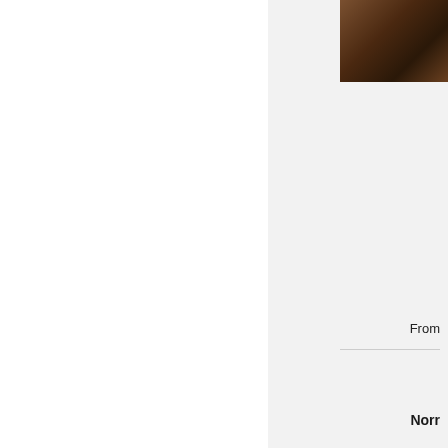[Figure (photo): Partial photo visible in top-right corner showing a dark brown subject, likely a person or object with dark tones]
From
Norr